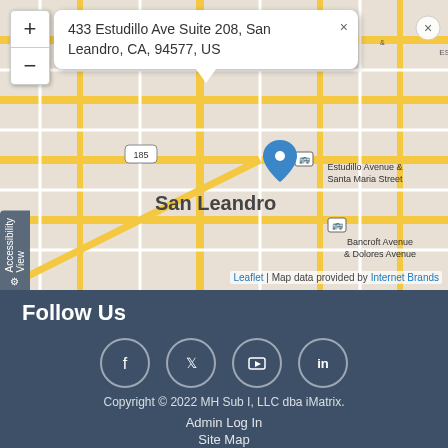[Figure (map): Interactive street map showing San Leandro, CA area with a blue location pin at Estudillo Avenue & Santa Maria Street, showing address 433 Estudillo Ave Suite 208, San Leandro, CA, 94577, US. Map shows nearby streets and transit stops including Bancroft Avenue & Dolores Avenue. Attribution reads: Leaflet | Map data provided by Internet Brands.]
Follow Us
[Figure (infographic): Social media icons in circles: Facebook (f), Twitter (bird), YouTube (play), LinkedIn (in)]
Copyright © 2022 MH Sub I, LLC dba iMatrix.
Admin Log In
Site Map